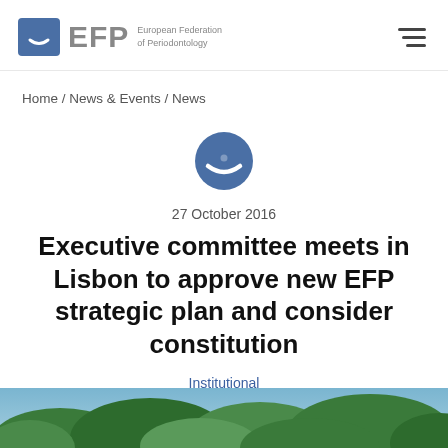EFP European Federation of Periodontology
Home / News & Events / News
[Figure (logo): EFP circular logo icon in blue]
27 October 2016
Executive committee meets in Lisbon to approve new EFP strategic plan and consider constitution
Institutional
[Figure (photo): Outdoor photo strip showing trees and foliage at bottom of page]